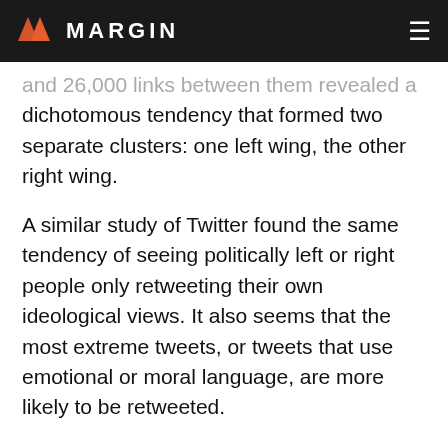MARGIN
and 26,000 links between them revealed a dichotomous tendency that formed two separate clusters: one left wing, the other right wing.
A similar study of Twitter found the same tendency of seeing politically left or right people only retweeting their own ideological views. It also seems that the most extreme tweets, or tweets that use emotional or moral language, are more likely to be retweeted.
The 2016 U.S Presidential Election saw a hyperinflation of polarised opinion with vast numbers of fake news stories and opinions saturating Facebook, which led to The Facebook Apocalypse.